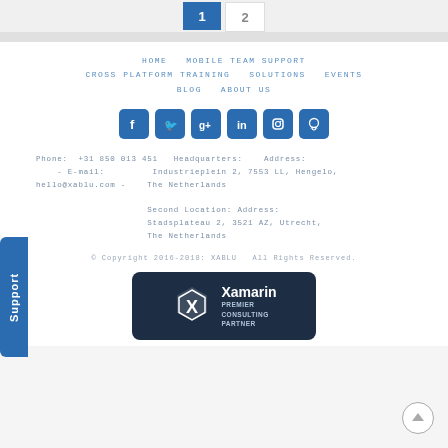1  2
HOME  MOBILE TEAM SUPPORT  CROSS PLATFORM TRAINING  SOLUTIONS  EVENTS  BLOG  ABOUT US
[Figure (illustration): Social media icons row: Facebook, Twitter, Google+, LinkedIn, Instagram, GitHub — white icons on blue rounded square backgrounds]
Phone: +31 850 013 451  Headquarters:  Address: Industrieplein 2, 7553 LL, Hengelo, The Netherlands  - E-mail: hello@xablu.com -  Second Location: Address: Stadsplateau 2, 3521 AZ, Utrecht, The Netherlands
© Copyright 2016-2018: XABLU  All Rights Reserved.
[Figure (logo): Xamarin Premier Consulting Partner badge — dark navy background, hexagonal X logo on left, Xamarin text with PREMIER CONSULTING PARTNER subtitle on right]